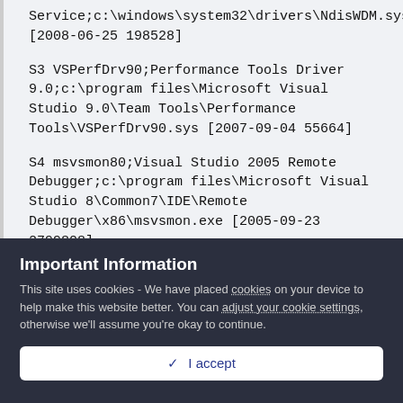Service;c:\windows\system32\drivers\NdisWDM.sys [2008-06-25 198528]
S3 VSPerfDrv90;Performance Tools Driver 9.0;c:\program files\Microsoft Visual Studio 9.0\Team Tools\Performance Tools\VSPerfDrv90.sys [2007-09-04 55664]
S4 msvsmon80;Visual Studio 2005 Remote Debugger;c:\program files\Microsoft Visual Studio 8\Common7\IDE\Remote Debugger\x86\msvsmon.exe [2005-09-23 2799808]
[HKEY_CURRENT_USER\software\microsoft\windows\currentversion\explorer\mountpoints2\M]
Important Information
This site uses cookies - We have placed cookies on your device to help make this website better. You can adjust your cookie settings, otherwise we'll assume you're okay to continue.
✓  I accept